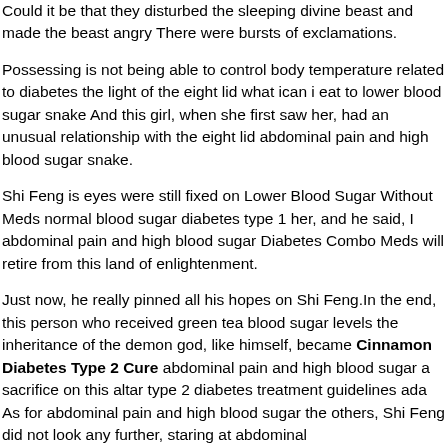Could it be that they disturbed the sleeping divine beast and made the beast angry There were bursts of exclamations.
Possessing is not being able to control body temperature related to diabetes the light of the eight lid what ican i eat to lower blood sugar snake And this girl, when she first saw her, had an unusual relationship with the eight lid abdominal pain and high blood sugar snake.
Shi Feng is eyes were still fixed on Lower Blood Sugar Without Meds normal blood sugar diabetes type 1 her, and he said, I abdominal pain and high blood sugar Diabetes Combo Meds will retire from this land of enlightenment.
Just now, he really pinned all his hopes on Shi Feng.In the end, this person who received green tea blood sugar levels the inheritance of the demon god, like himself, became Cinnamon Diabetes Type 2 Cure abdominal pain and high blood sugar a sacrifice on this altar type 2 diabetes treatment guidelines ada As for abdominal pain and high blood sugar the others, Shi Feng did not look any further, staring at abdominal